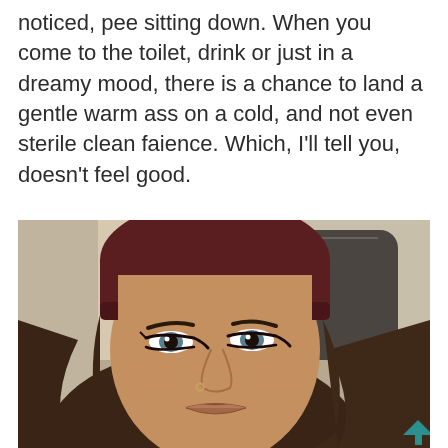noticed, pee sitting down. When you come to the toilet, drink or just in a dreamy mood, there is a chance to land a gentle warm ass on a cold, and not even sterile clean faience. Which, I'll tell you, doesn't feel good.
[Figure (photo): Selfie photo of a young woman wearing a dark maroon beanie hat, with long brown hair, prominent eye makeup, and a nose ring, taken inside a car with a headrest visible in the background. The photo has a warm sepia/vintage tone.]